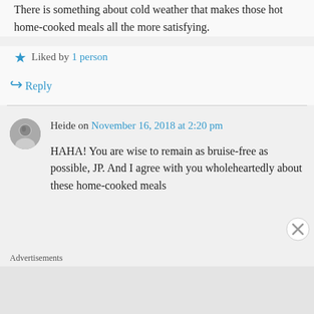There is something about cold weather that makes those hot home-cooked meals all the more satisfying.
★ Liked by 1 person
↪ Reply
Heide on November 16, 2018 at 2:20 pm
HAHA! You are wise to remain as bruise-free as possible, JP. And I agree with you wholeheartedly about these home-cooked meals
Advertisements